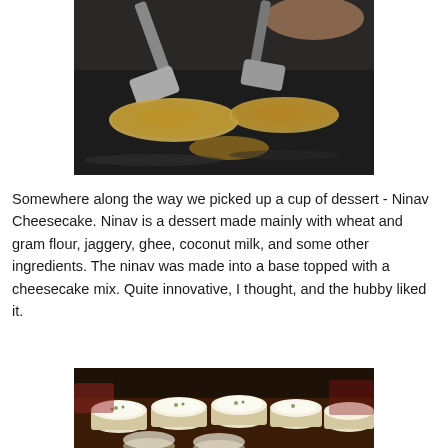[Figure (photo): Dark overhead shot of flatbread or pastry items being cooked on a dark griddle/tawa, with a metal spatula flipping them. The food items appear golden-brown and flat.]
Somewhere along the way we picked up a cup of dessert - Ninav Cheesecake. Ninav is a dessert made mainly with wheat and gram flour, jaggery, ghee, coconut milk, and some other ingredients. The ninav was made into a base topped with a cheesecake mix. Quite innovative, I thought, and the hubby liked it.
[Figure (photo): Close-up photo of multiple small cups/bowls filled with a creamy white dessert (Ninav Cheesecake) arranged on a wooden tray. The cups appear to have a white cream topping with green garnish.]